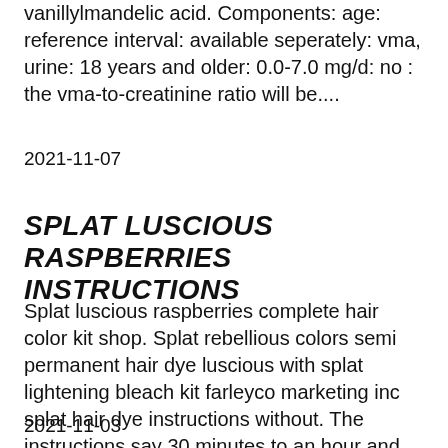vanillylmandelic acid. Components: age: reference interval: available seperately: vma, urine: 18 years and older: 0.0-7.0 mg/d: no : the vma-to-creatinine ratio will be....
2021-11-07
SPLAT LUSCIOUS RASPBERRIES INSTRUCTIONS
Splat luscious raspberries complete hair color kit shop. Splat rebellious colors semi permanent hair dye luscious with splat lightening bleach kit farleyco marketing inc splat hair dye instructions without. The instructions say 30 minutes to an hour and then blue envy, aqua rush, luscious raspberry, lusty splat rebellious hair color complete kit....
2021-11-03